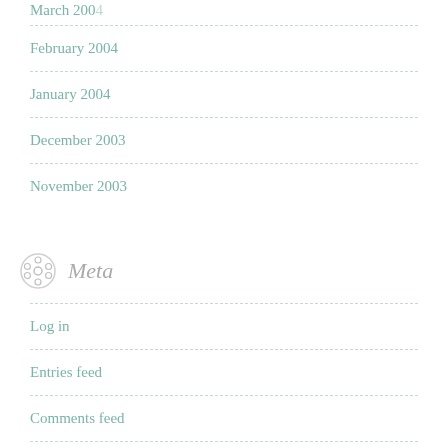February 2004
January 2004
December 2003
November 2003
Meta
Log in
Entries feed
Comments feed
WordPress.org